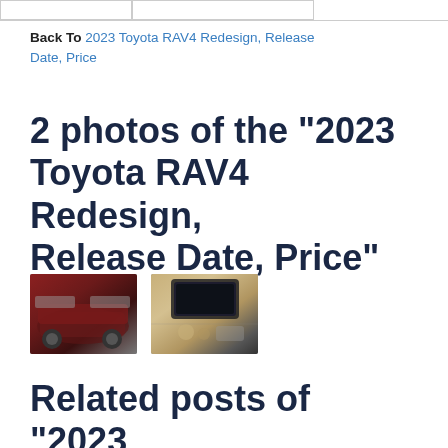Back To 2023 Toyota RAV4 Redesign, Release Date, Price
2 photos of the "2023 Toyota RAV4 Redesign, Release Date, Price"
[Figure (photo): Two thumbnail images: one showing a red Toyota RAV4 SUV exterior, one showing the interior dashboard/infotainment screen of a Toyota vehicle]
Related posts of "2023 Toyota RAV4 Redesign, Release Date, Price"